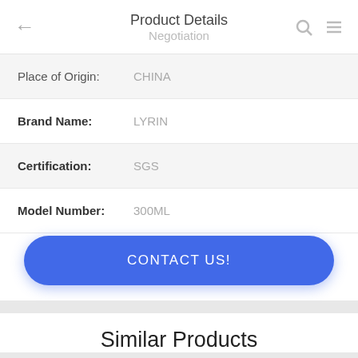Product Details / Negotiation
| Field | Value |
| --- | --- |
| Place of Origin: | CHINA |
| Brand Name: | LYRIN |
| Certification: | SGS |
| Model Number: | 300ML |
CONTACT US!
DETAILS
Similar Products